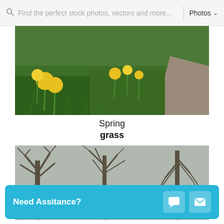[Figure (screenshot): Stock photo website search bar with text 'Find the perfect stock photos, vectors and more...' and Photos dropdown]
[Figure (photo): Photograph of green grass field with yellow daffodil flowers blooming, with a dirt path on the right side]
Spring
grass
[Figure (photo): Photograph of bare winter trees with no leaves against a grey sky]
Need Assitance?